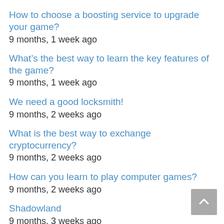How to choose a boosting service to upgrade your game?
9 months, 1 week ago
What’s the best way to learn the key features of the game?
9 months, 1 week ago
We need a good locksmith!
9 months, 2 weeks ago
What is the best way to exchange cryptocurrency?
9 months, 2 weeks ago
How can you learn to play computer games?
9 months, 2 weeks ago
Shadowland
9 months, 3 weeks ago